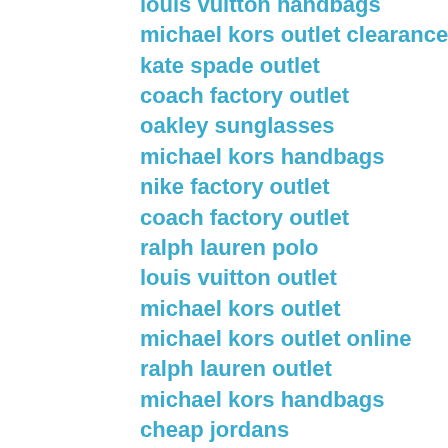louis vuitton handbags
michael kors outlet clearance
kate spade outlet
coach factory outlet
oakley sunglasses
michael kors handbags
nike factory outlet
coach factory outlet
ralph lauren polo
louis vuitton outlet
michael kors outlet
michael kors outlet online
ralph lauren outlet
michael kors handbags
cheap jordans
louis vuitton
louis vuitton outlet
coach factory outlet
abercrombie
ray ban sunglasses
ray ban sunglasses discount
jordans
polo ralph lauren